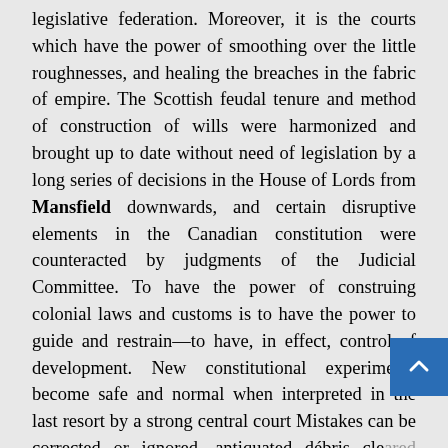legislative federation. Moreover, it is the courts which have the power of smoothing over the little roughnesses, and healing the breaches in the fabric of empire. The Scottish feudal tenure and method of construction of wills were harmonized and brought up to date without need of legislation by a long series of decisions in the House of Lords from Mansfield downwards, and certain disruptive elements in the Canadian constitution were counteracted by judgments of the Judicial Committee. To have the power of construing colonial laws and customs is to have the power to guide and restrain—to have, in effect, control of development. New constitutional experiments become safe and normal when interpreted in the last resort by a strong central court Mistakes can be corrected or ignored, antiquated débris cleared away, laws extended to correspond with changed conditions. And it is all done without noise or...